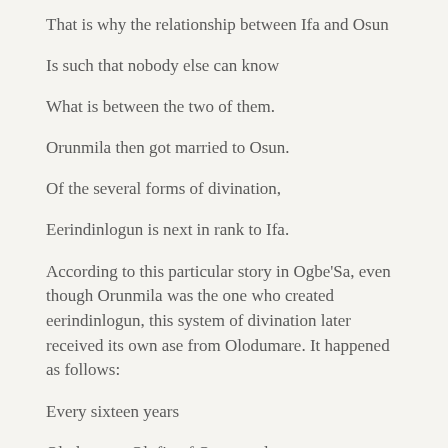That is why the relationship between Ifa and Osun
Is such that nobody else can know
What is between the two of them.
Orunmila then got married to Osun.
Of the several forms of divination,
Eerindinlogun is next in rank to Ifa.
According to this particular story in Ogbe'Sa, even though Orunmila was the one who created eerindinlogun, this system of divination later received its own ase from Olodumare. It happened as follows:
Every sixteen years
Olodumare, Olofin of Orun, used to